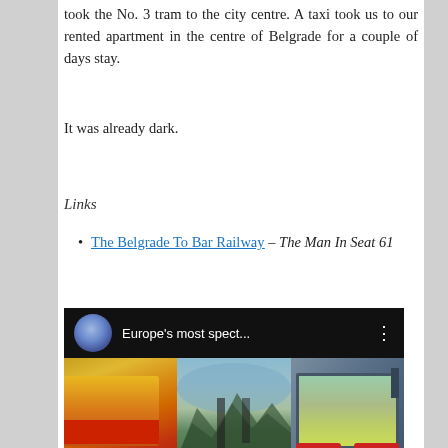took the No. 3 tram to the city centre. A taxi took us to our rented apartment in the centre of Belgrade for a couple of days stay.
It was already dark.
Links
The Belgrade To Bar Railway – The Man In Seat 61
[Figure (screenshot): YouTube video embed thumbnail showing 'Europe's most spect...' with three panel thumbnail: left panel shows a red/yellow train, center panel shows a mountain gorge with turquoise river, right panel shows train interior with red seats and mountain view through window. Red YouTube play button in center.]